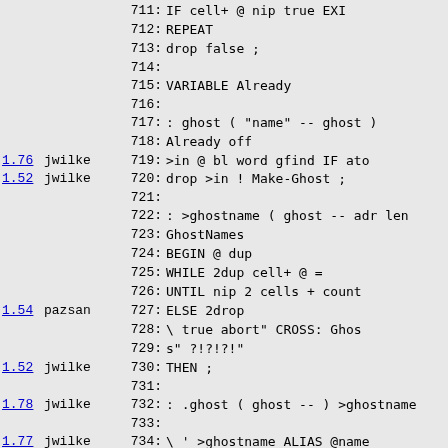Source code listing with version numbers, authors, and line numbers for Forth-like language code, lines 711-740